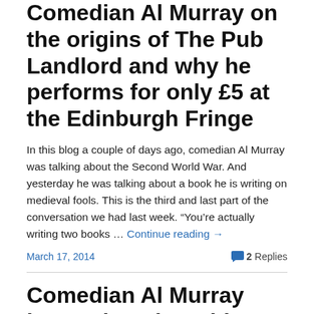Comedian Al Murray on the origins of The Pub Landlord and why he performs for only £5 at the Edinburgh Fringe
In this blog a couple of days ago, comedian Al Murray was talking about the Second World War. And yesterday he was talking about a book he is writing on medieval fools. This is the third and last part of the conversation we had last week. “You’re actually writing two books … Continue reading →
March 17, 2014
2 Replies
Comedian Al Murray has a chat about his Pub Landlord